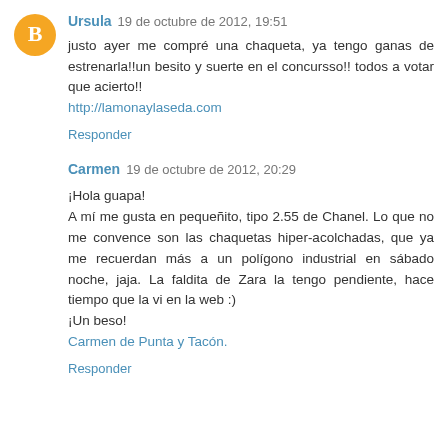Ursula  19 de octubre de 2012, 19:51
justo ayer me compré una chaqueta, ya tengo ganas de estrenarla!!un besito y suerte en el concursso!! todos a votar que acierto!!
http://lamonaylaseda.com
Responder
Carmen  19 de octubre de 2012, 20:29
¡Hola guapa!
A mí me gusta en pequeñito, tipo 2.55 de Chanel. Lo que no me convence son las chaquetas hiper-acolchadas, que ya me recuerdan más a un polígono industrial en sábado noche, jaja. La faldita de Zara la tengo pendiente, hace tiempo que la vi en la web :)
¡Un beso!
Carmen de Punta y Tacón.
Responder